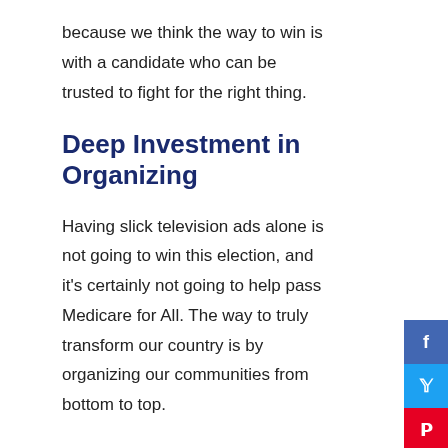because we think the way to win is with a candidate who can be trusted to fight for the right thing.
Deep Investment in Organizing
Having slick television ads alone is not going to win this election, and it's certainly not going to help pass Medicare for All. The way to truly transform our country is by organizing our communities from bottom to top.
We need to be out on the doors and on the phones, speaking with our friends and neighbors and classmates and coworkers. We need to build a movement of people who are deeply invested in this work, and our campaign needs to invest in that movement.